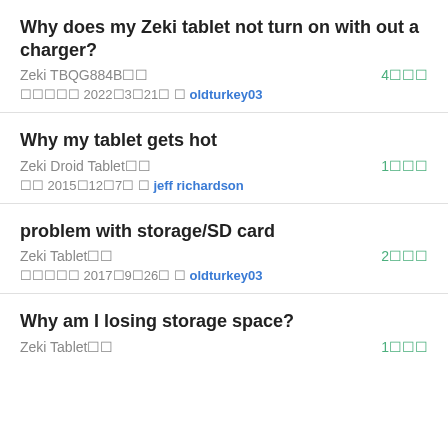Why does my Zeki tablet not turn on with out a charger?
Zeki TBQG884B■■	4■■■
■■■■■ 2022■3■21■ ■ oldturkey03
Why my tablet gets hot
Zeki Droid Tablet■■	1■■■
■■ 2015■12■7■ ■ jeff richardson
problem with storage/SD card
Zeki Tablet■■	2■■■
■■■■■ 2017■9■26■ ■ oldturkey03
Why am I losing storage space?
Zeki Tablet■■	1■■■